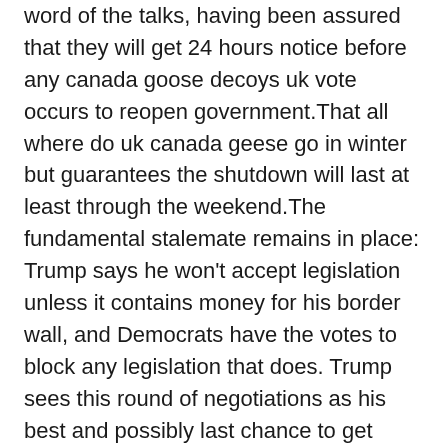word of the talks, having been assured that they will get 24 hours notice before any canada goose decoys uk vote occurs to reopen government.That all where do uk canada geese go in winter but guarantees the shutdown will last at least through the weekend.The fundamental stalemate remains in place: Trump says he won't accept legislation unless it contains money for his border wall, and Democrats have the votes to block any legislation that does. Trump sees this round of negotiations as his best and possibly last chance to get money from Congress for the wall, as Democrats are set to take over the House in January after big wins in the midterm elections.Now that gridlock is affecting large parts of the federal government. buy canada goose jacket
Canada Goose Outlet Remember, relationships are messy and complicated. So when you discuss these